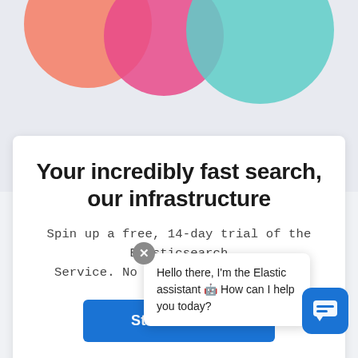[Figure (illustration): Decorative overlapping circles: salmon/orange and pink on left, teal on right, on a light gray background]
Your incredibly fast search, our infrastructure
Spin up a free, 14-day trial of the Elasticsearch Service. No credit card required.
Start free trial
Hello there, I'm the Elastic assistant 🤖 How can I help you today?
Manag